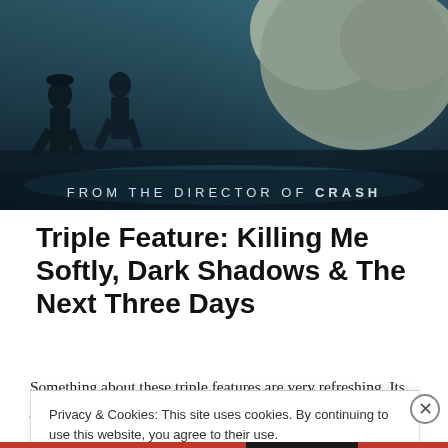[Figure (photo): Movie promotional banner image showing figures running, with text 'FROM THE DIRECTOR OF CRASH' overlaid on a dark cinematic scene.]
Triple Feature: Killing Me Softly, Dark Shadows & The Next Three Days
Something about these triple features are very refreshing. Its just a quick recount, straight-forward.  Sometimes, its
Privacy & Cookies: This site uses cookies. By continuing to use this website, you agree to their use.
To find out more, including how to control cookies, see here: Cookie Policy
Close and accept